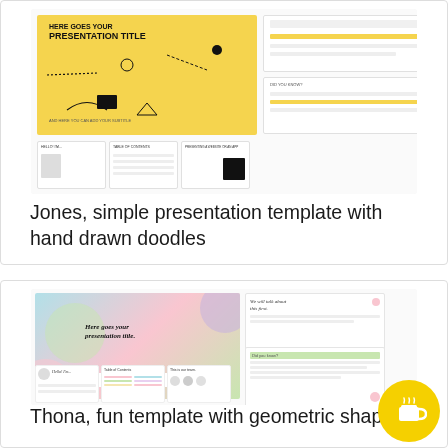[Figure (screenshot): Jones simple presentation template with hand drawn doodles - screenshot showing yellow and black themed slide deck with doodle illustrations]
Jones, simple presentation template with hand drawn doodles
[Figure (screenshot): Thona fun template with geometric shapes - screenshot showing pastel colored slide deck with geometric circle and rectangle shapes]
Thona, fun template with geometric shapes